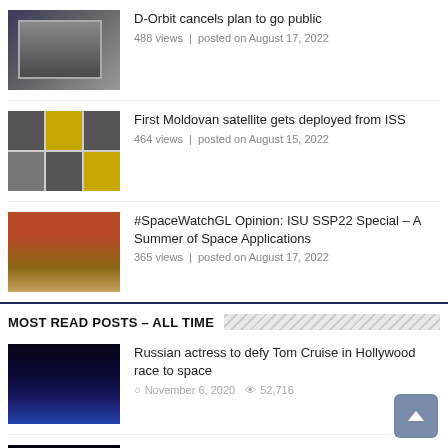D-Orbit cancels plan to go public — 488 views | posted on August 17, 2022
First Moldovan satellite gets deployed from ISS — 464 views | posted on August 15, 2022
#SpaceWatchGL Opinion: ISU SSP22 Special – A Summer of Space Applications — 365 views | posted on August 17, 2022
MOST READ POSTS – ALL TIME
Russian actress to defy Tom Cruise in Hollywood race to space — November 6, 2020 — 52,716
SpaceX to fly Starship 50,000 feet high, with 1/3 chance to get it back intact